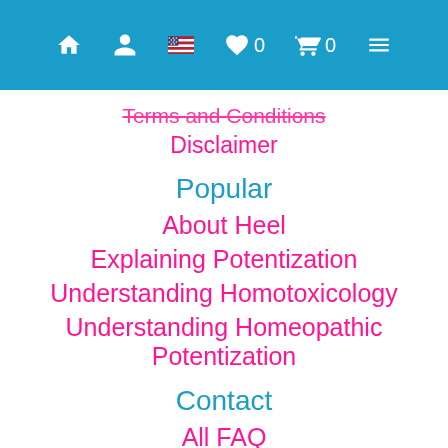Navigation bar with home, user, flag, heart 0, cart 0, menu icons
Terms and Conditions
Disclaimer
Popular
About Heel
Explaining Potentization
Understanding Homotoxicology
Understanding Homeopathic Potentization
Contact
All FAQ
About us
Contact Us
1-1 Consultation
Shipping & Delivery